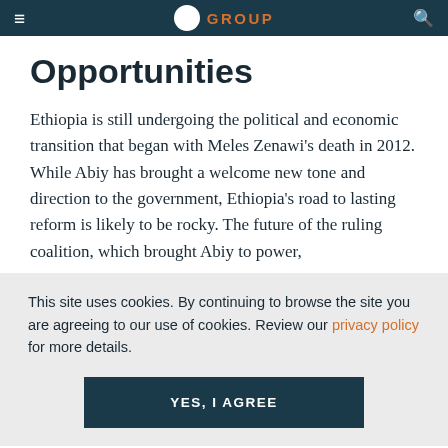GROUP
Opportunities
Ethiopia is still undergoing the political and economic transition that began with Meles Zenawi's death in 2012. While Abiy has brought a welcome new tone and direction to the government, Ethiopia's road to lasting reform is likely to be rocky. The future of the ruling coalition, which brought Abiy to power,
This site uses cookies. By continuing to browse the site you are agreeing to our use of cookies. Review our privacy policy for more details.
YES, I AGREE